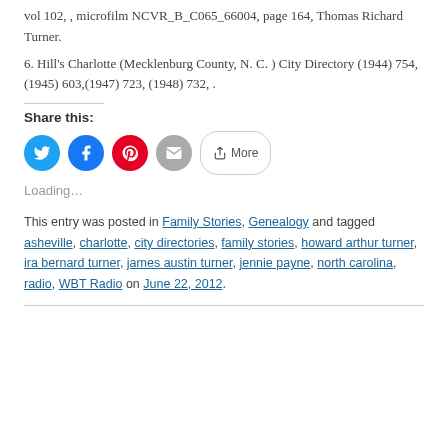vol 102, , microfilm NCVR_B_C065_66004, page 164, Thomas Richard Turner.
6. Hill's Charlotte (Mecklenburg County, N. C. ) City Directory (1944) 754, (1945) 603,(1947) 723, (1948) 732, .
Share this:
[Figure (other): Social share buttons: Twitter (blue circle), Facebook (blue circle), Pinterest (red circle), Email (grey circle), More button with share icon]
Loading...
This entry was posted in Family Stories, Genealogy and tagged asheville, charlotte, city directories, family stories, howard arthur turner, ira bernard turner, james austin turner, jennie payne, north carolina, radio, WBT Radio on June 22, 2012.